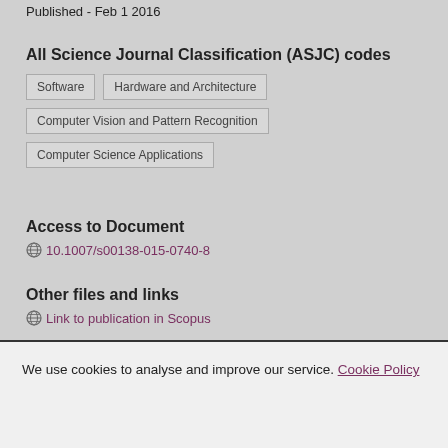Published - Feb 1 2016
All Science Journal Classification (ASJC) codes
Software
Hardware and Architecture
Computer Vision and Pattern Recognition
Computer Science Applications
Access to Document
10.1007/s00138-015-0740-8
Other files and links
Link to publication in Scopus
We use cookies to analyse and improve our service. Cookie Policy